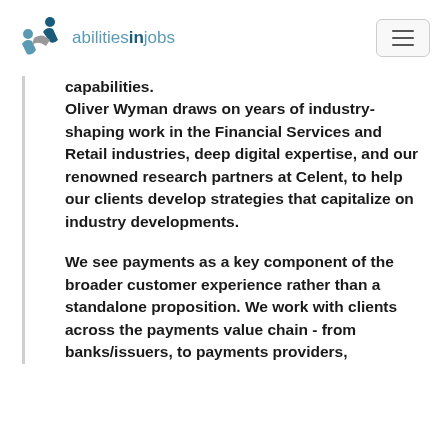abilitiesinjobs
capabilities. Oliver Wyman draws on years of industry-shaping work in the Financial Services and Retail industries, deep digital expertise, and our renowned research partners at Celent, to help our clients develop strategies that capitalize on industry developments.
We see payments as a key component of the broader customer experience rather than a standalone proposition. We work with clients across the payments value chain - from banks/issuers, to payments providers,